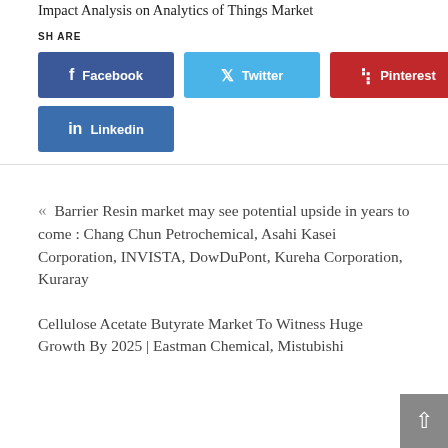Impact Analysis on Analytics of Things Market
SHARE
[Figure (infographic): Social share buttons: Facebook (dark blue), Twitter (light blue), Pinterest (red), Linkedin (blue)]
« Barrier Resin market may see potential upside in years to come : Chang Chun Petrochemical, Asahi Kasei Corporation, INVISTA, DowDuPont, Kureha Corporation, Kuraray
Cellulose Acetate Butyrate Market To Witness Huge Growth By 2025 | Eastman Chemical, Mistubishi